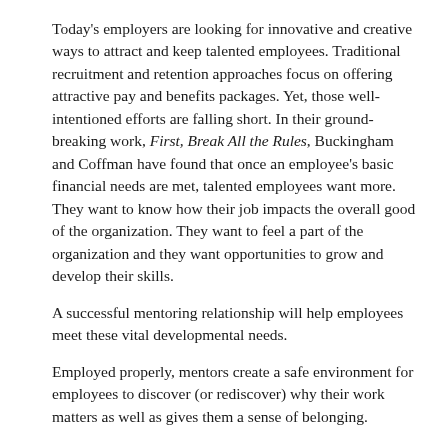Today's employers are looking for innovative and creative ways to attract and keep talented employees. Traditional recruitment and retention approaches focus on offering attractive pay and benefits packages. Yet, those well-intentioned efforts are falling short. In their ground-breaking work, First, Break All the Rules, Buckingham and Coffman have found that once an employee's basic financial needs are met, talented employees want more. They want to know how their job impacts the overall good of the organization. They want to feel a part of the organization and they want opportunities to grow and develop their skills.
A successful mentoring relationship will help employees meet these vital developmental needs.
Employed properly, mentors create a safe environment for employees to discover (or rediscover) why their work matters as well as gives them a sense of belonging.
Read More